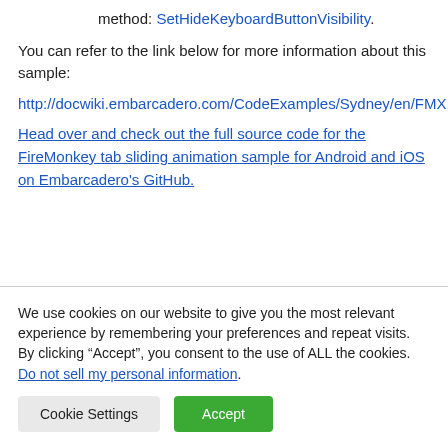method: SetHideKeyboardButtonVisibility.
You can refer to the link below for more information about this sample:
http://docwiki.embarcadero.com/CodeExamples/Sydney/en/FMX.
Head over and check out the full source code for the FireMonkey tab sliding animation sample for Android and iOS on Embarcadero's GitHub.
We use cookies on our website to give you the most relevant experience by remembering your preferences and repeat visits. By clicking “Accept”, you consent to the use of ALL the cookies.
Do not sell my personal information.